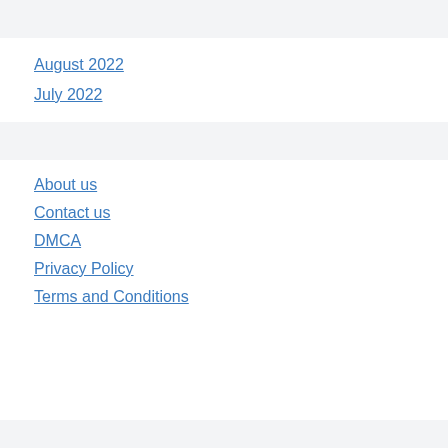August 2022
July 2022
About us
Contact us
DMCA
Privacy Policy
Terms and Conditions